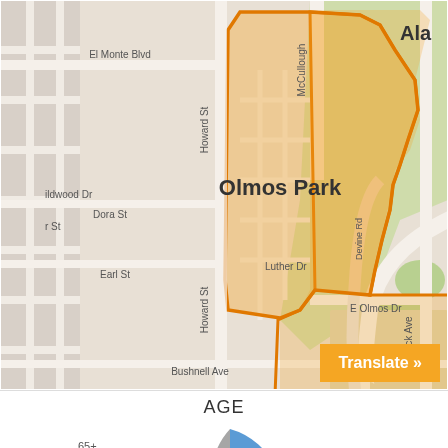[Figure (map): Street map showing the Olmos Park neighborhood boundary in San Antonio, Texas. The neighborhood is highlighted with an orange outline and light orange fill. Visible streets include McCullough, Howard St, El Monte Blvd, Dora St, Earl St, Luther Dr, E Olmos Dr, Shock Ave, Devine Rd, Bushnell Ave. Highway 281 shield is visible. Green areas represent parks. The label 'Olmos Park' appears in bold inside the boundary. 'Ala' appears truncated at upper right corner.]
AGE
[Figure (pie-chart): Partial pie chart showing age distribution for Olmos Park. A '65+' label is visible at the bottom left of the chart. The chart is partially cut off at the bottom of the page.]
[Figure (other): Orange 'Translate »' button in the lower right corner of the page.]